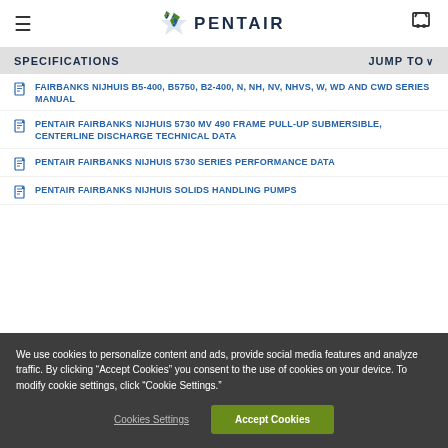PENTAIR
SPECIFICATIONS | JUMP TO
FAIRBANKS NIJHUIS B5-400, B5750, B2-400, N, NH, NV, NHVS, W, WD AND CWD SERIES MANUAL
PENTAIR FAIRBANKS NIJHUIS 5730 MV 490 FRAME PULL-UP SUBMERSIBLE, CENTERLINE DISCHARGE TECHNICAL DATA
PENTAIR FAIRBANKS NIJHUIS 5730 SERIES PERFORMANCE DATA
PENTAIR FAIRBANKS NIJHUIS SOLIDS HANDLING PUMPS
We use cookies to personalize content and ads, provide social media features and analyze traffic. By clicking "Accept Cookies" you consent to the use of cookies on your device. To modify cookie settings, click "Cookie Settings."